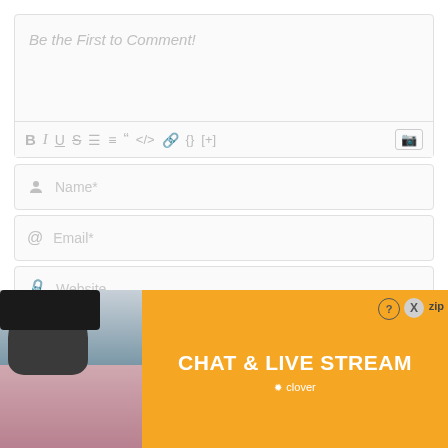[Figure (screenshot): Comment input box with placeholder text 'Be the First to Comment!' and formatting toolbar with icons: B, I, U, S, ordered list, unordered list, blockquote, code, link, braces, [+], and image icon]
[Figure (screenshot): Name input field with person icon and placeholder 'Name*']
[Figure (screenshot): Email input field with @ icon and placeholder 'Email*']
[Figure (screenshot): Website input field with link icon and placeholder 'Website']
[Figure (screenshot): Bell notification button and green 'Post Comment' button]
COMMENTS
[Figure (photo): Advertisement banner showing a person in a beanie hat on the left, a beach photo with a woman, and an orange banner on the right reading 'CHAT & LIVE STREAM' with Clover branding, close button X, help button ?, and 'zip' text]